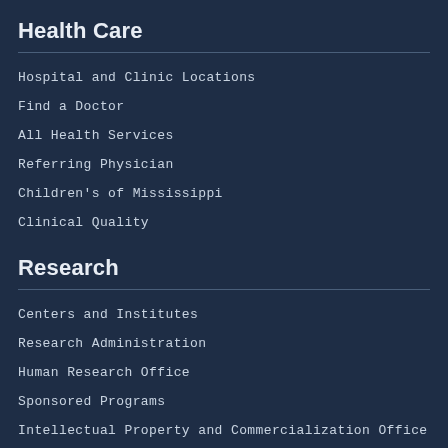Health Care
Hospital and Clinic Locations
Find a Doctor
All Health Services
Referring Physician
Children's of Mississippi
Clinical Quality
Research
Centers and Institutes
Research Administration
Human Research Office
Sponsored Programs
Intellectual Property and Commercialization Office
News and Media